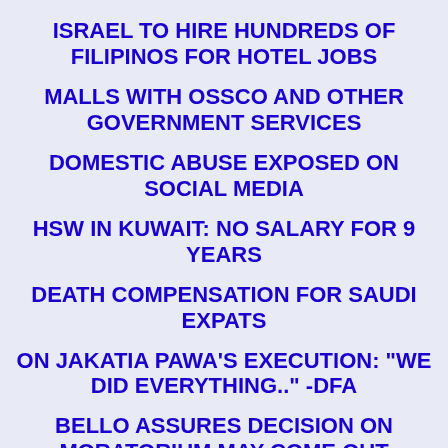ISRAEL TO HIRE HUNDREDS OF FILIPINOS FOR HOTEL JOBS
MALLS WITH OSSCO AND OTHER GOVERNMENT SERVICES
DOMESTIC ABUSE EXPOSED ON SOCIAL MEDIA
HSW IN KUWAIT: NO SALARY FOR 9 YEARS
DEATH COMPENSATION FOR SAUDI EXPATS
ON JAKATIA PAWA'S EXECUTION: "WE DID EVERYTHING.." -DFA
BELLO ASSURES DECISION ON MORATORIUM MAY COME OUT ANYTIME SOON
SEN. JOEL VILLANUEVA SUPPORTS